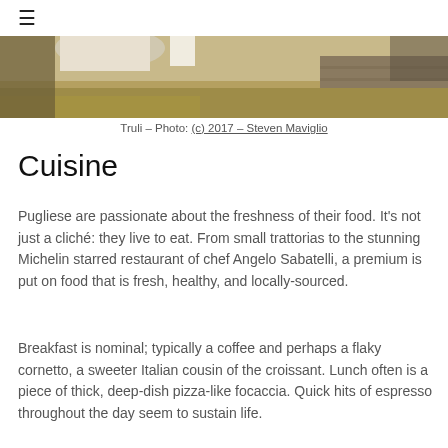[Figure (photo): Landscape photo of Trulli stone buildings with dry grass and stone wall in the foreground]
Truli – Photo: (c) 2017 – Steven Maviglio
Cuisine
Pugliese are passionate about the freshness of their food. It's not just a cliché: they live to eat. From small trattorias to the stunning Michelin starred restaurant of chef Angelo Sabatelli, a premium is put on food that is fresh, healthy, and locally-sourced.
Breakfast is nominal; typically a coffee and perhaps a flaky cornetto, a sweeter Italian cousin of the croissant. Lunch often is a piece of thick, deep-dish pizza-like focaccia. Quick hits of espresso throughout the day seem to sustain life.